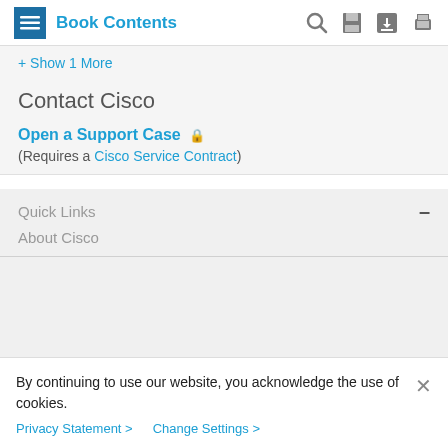Book Contents
+ Show 1 More
Contact Cisco
Open a Support Case
(Requires a Cisco Service Contract)
Quick Links
About Cisco
By continuing to use our website, you acknowledge the use of cookies.
Privacy Statement > Change Settings >